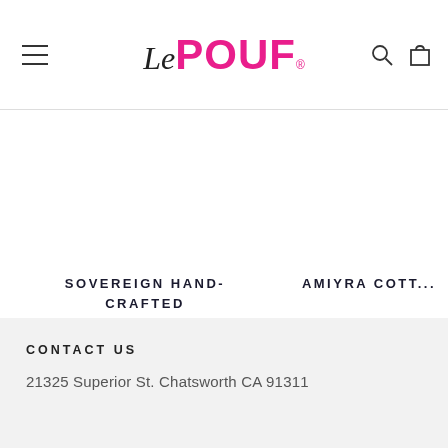Le POUF — navigation header with menu, logo, search and cart icons
SOVEREIGN HAND-CRAFTED COTTON CUBE POUF
FROM $65.12
AMIYRA COTT...
CONTACT US
21325 Superior St. Chatsworth CA 91311